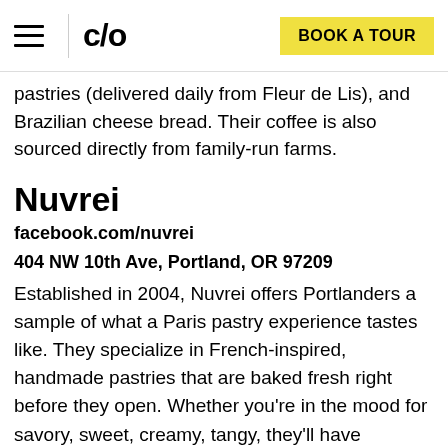c/o | BOOK A TOUR
pastries (delivered daily from Fleur de Lis), and Brazilian cheese bread. Their coffee is also sourced directly from family-run farms.
Nuvrei
facebook.com/nuvrei
404 NW 10th Ave, Portland, OR 97209
Established in 2004, Nuvrei offers Portlanders a sample of what a Paris pastry experience tastes like. They specialize in French-inspired, handmade pastries that are baked fresh right before they open. Whether you're in the mood for savory, sweet, creamy, tangy, they'll have something for you. We recommend giving their Rose croissant a try!